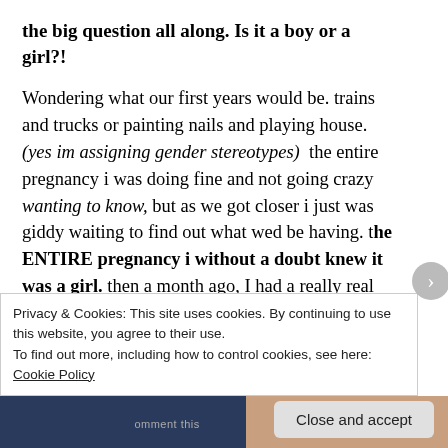the big question all along. Is it a boy or a girl?!
Wondering what our first years would be. trains and trucks or painting nails and playing house. (yes im assigning gender stereotypes)  the entire pregnancy i was doing fine and not going crazy wanting to know, but as we got closer i just was giddy waiting to find out what wed be having. the ENTIRE pregnancy i without a doubt knew it was a girl. then a month ago, I had a really real dream where i was changing
Privacy & Cookies: This site uses cookies. By continuing to use this website, you agree to their use.
To find out more, including how to control cookies, see here: Cookie Policy